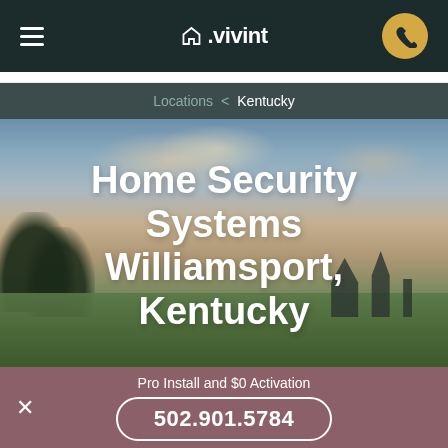Vivint navigation bar with hamburger menu, Vivint logo, and phone button
Locations < Kentucky
Home Security Systems Williamsport, Kentucky
Pro Install and $0 Activation
502.901.5784